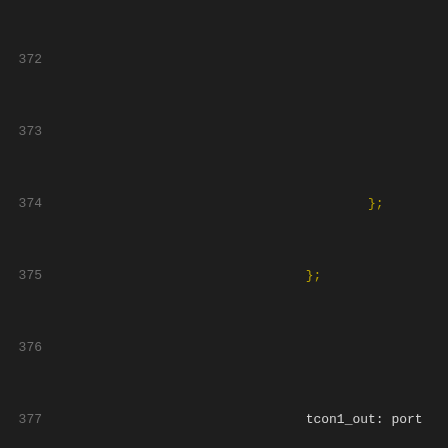Source code listing lines 372-393, showing device tree configuration code with line numbers, including tcon1_out port definition, mmc0 device node beginning